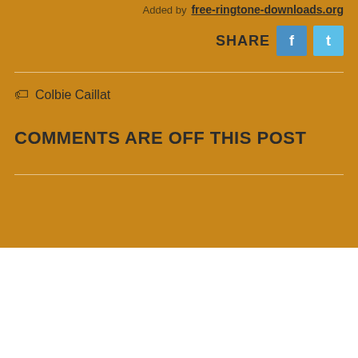Added by free-ringtone-downloads.org
SHARE
Colbie Caillat
COMMENTS ARE OFF THIS POST
[Figure (logo): Red musical note icon]
Lirik Lagu | Free Ringtones
DMCA Policy
Privacy Policy